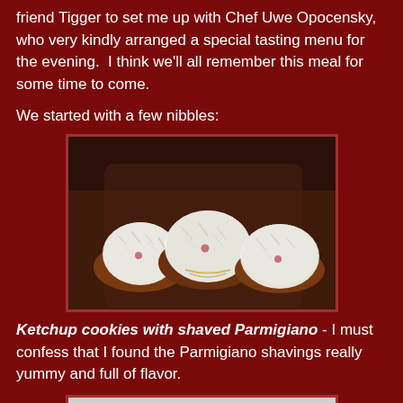friend Tigger to set me up with Chef Uwe Opocensky, who very kindly arranged a special tasting menu for the evening. I think we'll all remember this meal for some time to come.
We started with a few nibbles:
[Figure (photo): Close-up photo of ketchup cookies topped with white shaved Parmigiano cheese in small brown paper cups]
Ketchup cookies with shaved Parmigiano - I must confess that I found the Parmigiano shavings really yummy and full of flavor.
[Figure (photo): Photo of food items in a dark bowl or plate, appears to be small round food items in a sauce or broth]